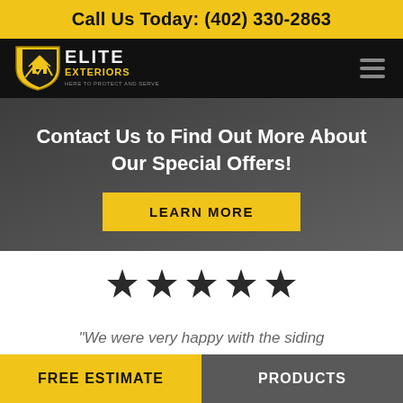Call Us Today: (402) 330-2863
[Figure (logo): Elite Exteriors shield logo with text 'ELITE EXTERIORS - HERE TO PROTECT AND SERVE']
Contact Us to Find Out More About Our Special Offers!
LEARN MORE
[Figure (infographic): Five black star rating icons]
“We were very happy with the siding [that Elite Exteriors installed…]
FREE ESTIMATE
PRODUCTS